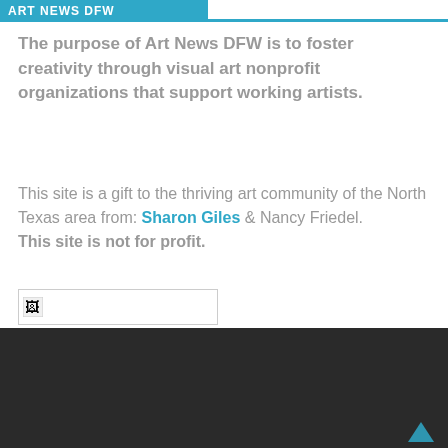ART NEWS DFW
The purpose of Art News DFW is to foster creativity through visual art nonprofit organizations that support working artists.
This site is a gift to the thriving art community of the North Texas area from: Sharon Giles & Nancy Friedel. This site is not for profit.
[Figure (other): Small broken/placeholder image thumbnail in a bordered box]
The purpose of Art News DFW is to foster creativity through visual art nonprofit organizations that support working artists.